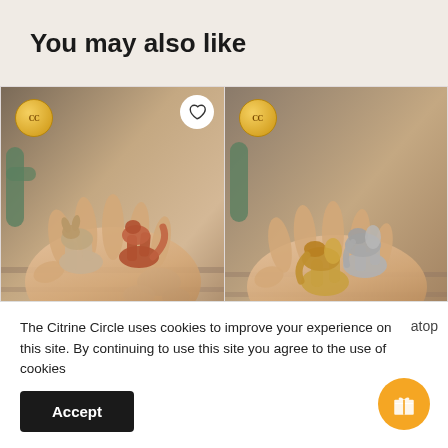You may also like
[Figure (photo): Two small ceramic/stone animal figurines (deer-like) held in an open hand, with cactus and stones in background. Golden CC badge in top left corner, heart button in top right.]
[Figure (photo): Two small ceramic/stone animal figurines (elephant-like) held in an open hand. Golden CC badge in top left corner. Partially visible, cropped on right side.]
The Citrine Circle uses cookies to improve your experience on this site. By continuing to use this site you agree to the use of cookies
Accept